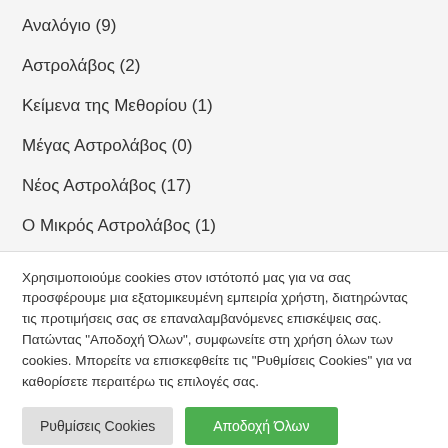Αναλόγιο (9)
Αστρολάβος (2)
Κείμενα της Μεθορίου (1)
Μέγας Αστρολάβος (0)
Νέος Αστρολάβος (17)
Ο Μικρός Αστρολάβος (1)
Χρησιμοποιούμε cookies στον ιστότοπό μας για να σας προσφέρουμε μια εξατομικευμένη εμπειρία χρήστη, διατηρώντας τις προτιμήσεις σας σε επαναλαμβανόμενες επισκέψεις σας. Πατώντας "Αποδοχή Όλων", συμφωνείτε στη χρήση όλων των cookies. Μπορείτε να επισκεφθείτε τις "Ρυθμίσεις Cookies" για να καθορίσετε περαιτέρω τις επιλογές σας.
Ρυθμίσεις Cookies | Αποδοχή Όλων